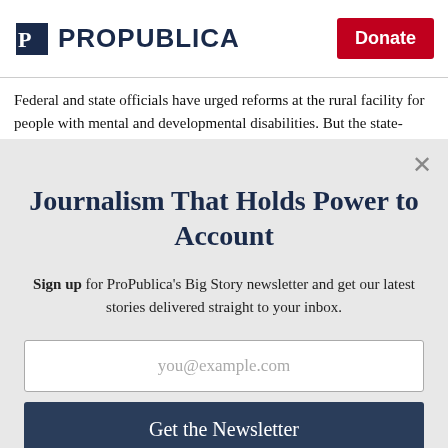ProPublica | Donate
Federal and state officials have urged reforms at the rural facility for people with mental and developmental disabilities. But the state-
Journalism That Holds Power to Account
Sign up for ProPublica's Big Story newsletter and get our latest stories delivered straight to your inbox.
you@example.com
Get the Newsletter
No thanks, I'm all set
This site is protected by reCAPTCHA and the Google Privacy Policy and Terms of Service apply.